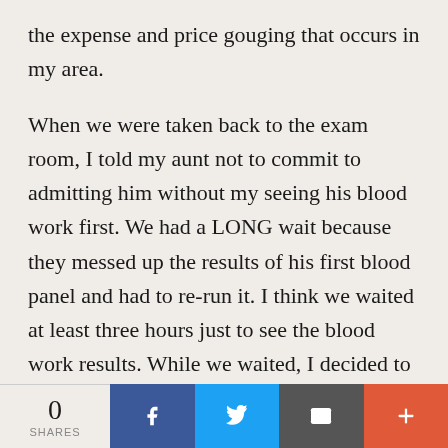the expense and price gouging that occurs in my area.
When we were taken back to the exam room, I told my aunt not to commit to admitting him without my seeing his blood work first. We had a LONG wait because they messed up the results of his first blood panel and had to re-run it. I think we waited at least three hours just to see the blood work results. While we waited, I decided to start playing Dr Google on my phone.
I was AMAZED at what I had found out. Although